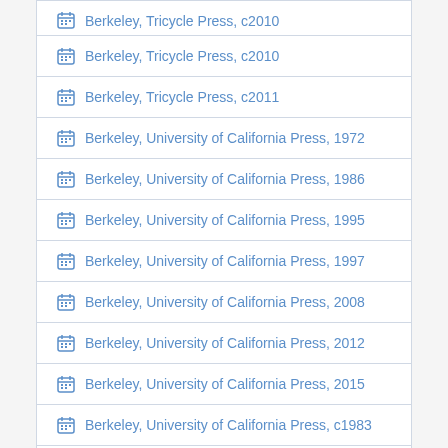Berkeley, Tricycle Press, c2011
Berkeley, Tricycle Press, c2010
Berkeley, Tricycle Press, c2011
Berkeley, University of California Press, 1972
Berkeley, University of California Press, 1986
Berkeley, University of California Press, 1995
Berkeley, University of California Press, 1997
Berkeley, University of California Press, 2008
Berkeley, University of California Press, 2012
Berkeley, University of California Press, 2015
Berkeley, University of California Press, c1983
Berkeley, University of California Press, c1989